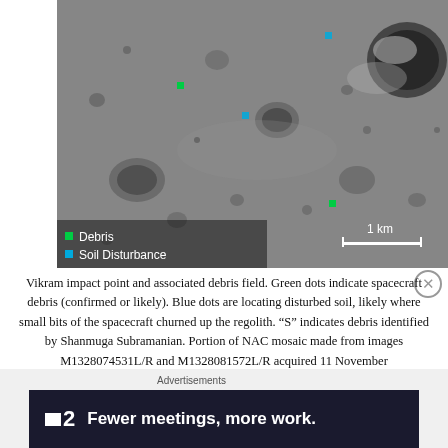[Figure (photo): Lunar surface image showing Vikram impact point and debris field. Green dots mark spacecraft debris (confirmed or likely), blue dots indicate soil disturbance. Legend reads 'Debris' (green) and 'Soil Disturbance' (blue). Scale bar shows 1 km.]
Vikram impact point and associated debris field. Green dots indicate spacecraft debris (confirmed or likely). Blue dots are locating disturbed soil, likely where small bits of the spacecraft churned up the regolith. “S” indicates debris identified by Shanmuga Subramanian. Portion of NAC mosaic made from images M1328074531L/R and M1328081572L/R acquired 11 November [NASA/GSFC/Arizona State University].
Advertisements
[Figure (screenshot): Advertisement banner with dark background showing logo with two squares and number 2, and text 'Fewer meetings, more work.']